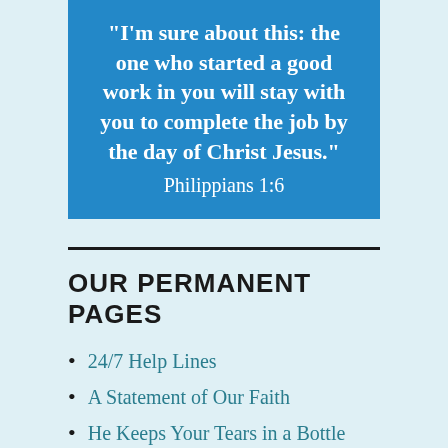"I'm sure about this: the one who started a good work in you will stay with you to complete the job by the day of Christ Jesus." Philippians 1:6
OUR PERMANENT PAGES
24/7 Help Lines
A Statement of Our Faith
He Keeps Your Tears in a Bottle
Meet the Broken Believer's Writers